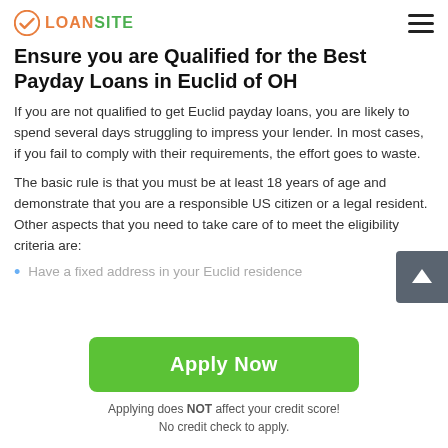LOANSITE
Ensure you are Qualified for the Best Payday Loans in Euclid of OH
If you are not qualified to get Euclid payday loans, you are likely to spend several days struggling to impress your lender. In most cases, if you fail to comply with their requirements, the effort goes to waste.
The basic rule is that you must be at least 18 years of age and demonstrate that you are a responsible US citizen or a legal resident. Other aspects that you need to take care of to meet the eligibility criteria are:
Have a fixed address in your Euclid residence
Apply Now
Applying does NOT affect your credit score!
No credit check to apply.